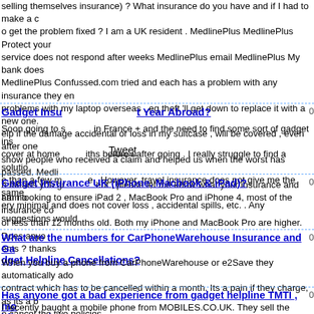selling themselves insurance) ? What insurance do you have and if I had to make a claim, o get the problem fixed ? I am a UK resident . MedlinePlus MedlinePlus Protect your service does not respond after weeks MedlinePlus email MedlinePlus My bank does MedlinePlus Confussed.com tried and each has a problem with any insurance they en problems with my laptop overseas , eg theft 'll get down to replace it with a new one. elp if the damage accidental or loss in my suitcase , will be covered , even after one show people who received a claim and helped us when the worst has passed. Medli h means you gr ent , please let me know what your insurance and am ho
Gadget Insu Year Abroad?
Soon going to s in France + and the need to find some sort of gadget ins cover at home iths before / after going . I really struggle to find a solutio e than a few m e . However, travel insurance does not give me the sam ery minimal and does not cover loss , accidental spills, etc. . Any suggestions would
Gadget Insurance UK (iPhone, Macbook & iPad)?
I am looking to ensure iPad 2 , MacBook Pro and iPhone 4, most of the insurance co of less than 12 months old. Both my iPhone and MacBook Pro are higher. Does anyo ents ? thanks
What are the numbers for CarPhoneWarehouse Insurance and Gadget Helpline Cancellations?
When you buy a phone from CarPhoneWarehouse or e2Save they automatically ado contract which has to be cancelled within a month. Its a pain if they charge, as its a b o cancel the two policies.
Has anyone got a bad experience from gadget helpline TMTI , mobiles.co.uk?
I recently baught a mobile phone from MOBILES.CO.UK. They sell the phone with in te debits. so three direct debits for one phone. I cancelled the insurance immediately